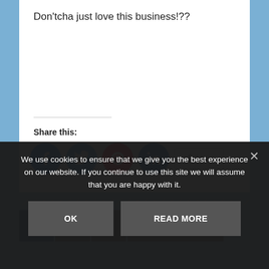Don'tcha just love this business!??
Share this:
[Figure (infographic): Social share icons: Facebook (blue circle), Twitter (cyan circle), Pinterest (red circle), LinkedIn (dark teal circle), and a More button]
[Figure (other): Diagonal hatched divider line spanning full width]
1  2  3  Next Page »
We use cookies to ensure that we give you the best experience on our website. If you continue to use this site we will assume that you are happy with it.
OK
READ MORE